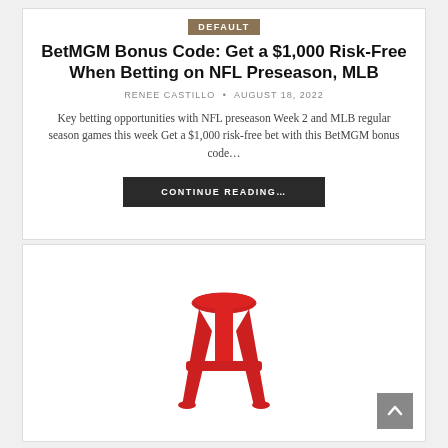DEFAULT
BetMGM Bonus Code: Get a $1,000 Risk-Free When Betting on NFL Preseason, MLB
RENEE CASTILLO  •  AUGUST 18, 2022
Key betting opportunities with NFL preseason Week 2 and MLB regular season games this week Get a $1,000 risk-free bet with this BetMGM bonus code...
CONTINUE READING...
[Figure (logo): Barstool Sports logo: red barstool/stool icon surrounded by a circle of dark navy stars]